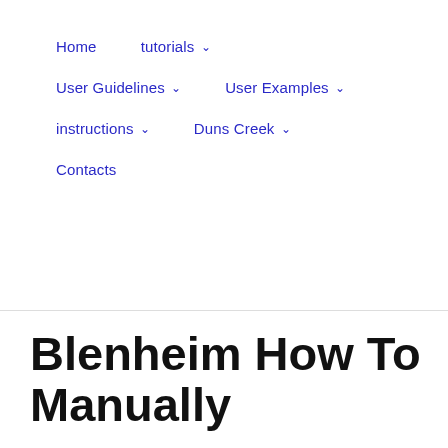Home   tutorials ∨   User Guidelines ∨   User Examples ∨   instructions ∨   Duns Creek ∨   Contacts
Blenheim How To Manually